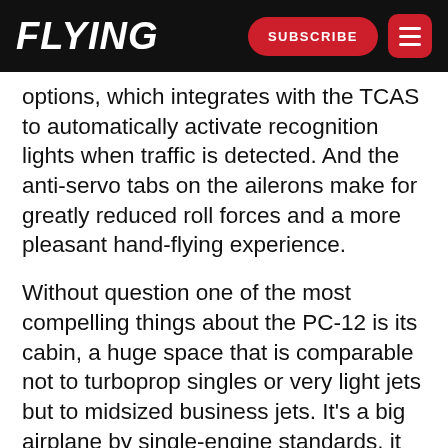FLYING | SUBSCRIBE
options, which integrates with the TCAS to automatically activate recognition lights when traffic is detected. And the anti-servo tabs on the ailerons make for greatly reduced roll forces and a more pleasant hand-flying experience.
Without question one of the most compelling things about the PC-12 is its cabin, a huge space that is comparable not to turboprop singles or very light jets but to midsized business jets. It's a big airplane by single-engine standards, it